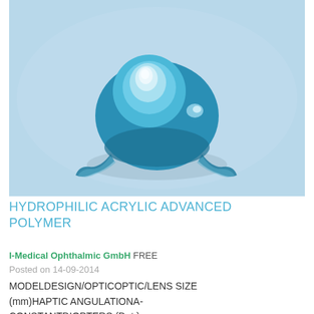[Figure (photo): Close-up photo of a hydrophilic acrylic intraocular lens (IOL) against a light blue background. The lens body is blue/teal with a white/clear central optic zone and small haptic arms visible at the bottom.]
HYDROPHILIC ACRYLIC ADVANCED POLYMER
I-Medical Ophthalmic GmbH FREE
Posted on 14-09-2014
MODELDESIGN/OPTICOPTIC/LENS SIZE (mm)HAPTIC ANGULATIONA-CONSTANTDIOPTERS (Dpt.)